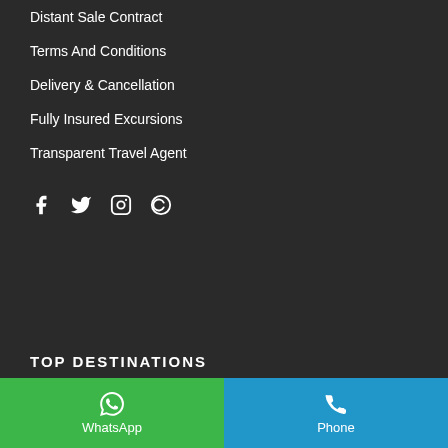Distant Sale Contract
Terms And Conditions
Delivery & Cancellation
Fully Insured Excursions
Transparent Travel Agent
[Figure (other): Social media icons: Facebook, Twitter, Instagram, and a copyright/circle-C icon]
TOP DESTINATIONS
[Figure (other): Bottom navigation bar with WhatsApp button (green) on the left and Phone button (blue) on the right]